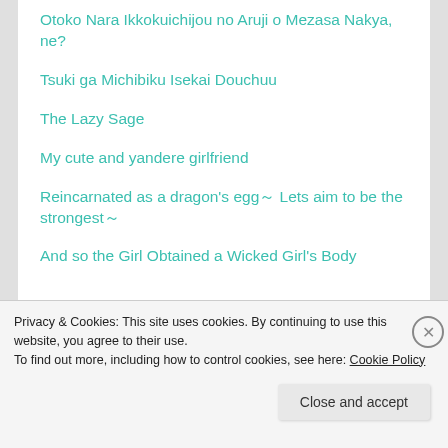Otoko Nara Ikkokuichijou no Aruji o Mezasa Nakya, ne?
Tsuki ga Michibiku Isekai Douchuu
The Lazy Sage
My cute and yandere girlfriend
Reincarnated as a dragon's egg～ Lets aim to be the strongest～
And so the Girl Obtained a Wicked Girl's Body
Privacy & Cookies: This site uses cookies. By continuing to use this website, you agree to their use.
To find out more, including how to control cookies, see here: Cookie Policy
Close and accept